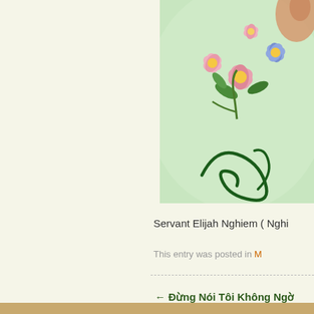[Figure (illustration): Decorative floral illustration with green swirls, pink and blue flowers on a light green background, partially visible at top-right corner of page]
Servant  Elijah Nghiem ( Nghi
This entry was posted in M
← Đừng Nói Tôi Không Ngờ
Hosting by:
DreamHost.com
© 2022 - Công Bố Phúc Âm